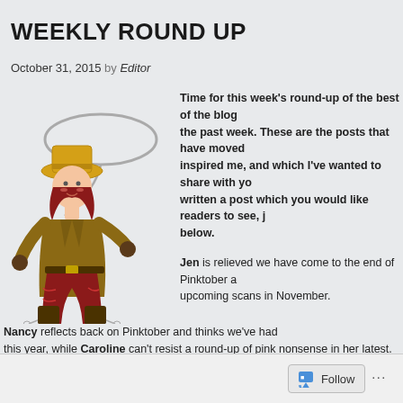WEEKLY ROUND UP
October 31, 2015 by Editor
[Figure (illustration): Cartoon cowgirl with lasso, wearing a yellow hat and red outfit]
Time for this week's round-up of the best of the blogs from the past week. These are the posts that have moved and inspired me, and which I've wanted to share with you. If you've written a post which you would like readers to see, just add the link below.
Jen is relieved we have come to the end of Pinktober and upcoming scans in November.
Nancy reflects back on Pinktober and thinks we've had enough this year, while Caroline can't resist a round-up of pink nonsense in her latest.
Sarah wraps up a month of breast cancer awareness posts on the UK based Cancer blog.
A Lil Earthquake's celebration of all things autumnal reminds us that there is more to October than Pinktober.
Follow ...